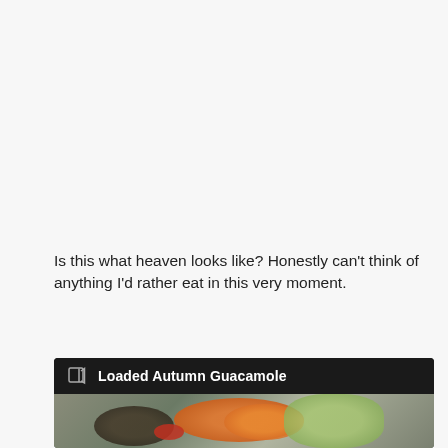Is this what heaven looks like? Honestly can't think of anything I'd rather eat in this very moment.
[Figure (photo): A card embed showing a food photo of 'Loaded Autumn Guacamole' — a dark bowl with orange roasted squash, green avocado, red peppers and dark beans on a grey background. The card has a dark header bar with a link icon and the title 'Loaded Autumn Guacamole'.]